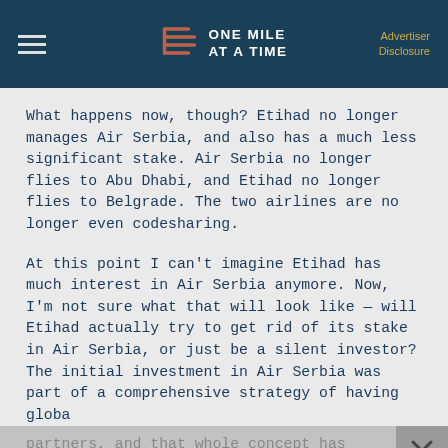ONE MILE AT A TIME | Advertiser Disclosure
What happens now, though? Etihad no longer manages Air Serbia, and also has a much less significant stake. Air Serbia no longer flies to Abu Dhabi, and Etihad no longer flies to Belgrade. The two airlines are no longer even codesharing.
At this point I can't imagine Etihad has much interest in Air Serbia anymore. Now, I'm not sure what that will look like — will Etihad actually try to get rid of its stake in Air Serbia, or just be a silent investor? The initial investment in Air Serbia was part of a comprehensive strategy of having global partners, and that whole concept has failed.